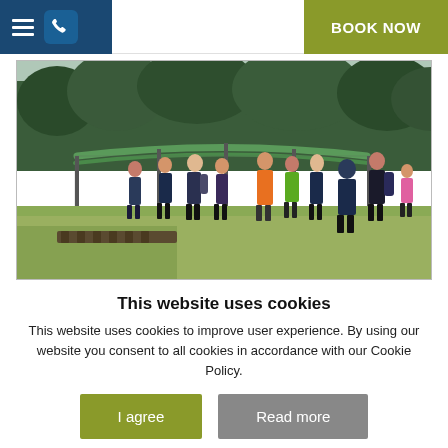BOOK NOW
[Figure (photo): Group of people, including children and adults, standing outside near a fenced enclosure area surrounded by trees and wetland vegetation. A person in an orange safety vest appears to be leading the group.]
This website uses cookies
This website uses cookies to improve user experience. By using our website you consent to all cookies in accordance with our Cookie Policy.
I agree
Read more